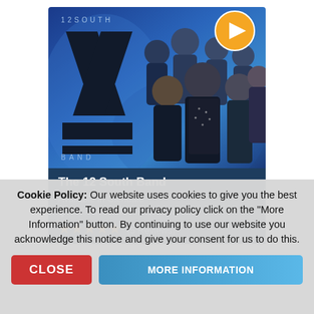[Figure (photo): Promotional photo of The 12 South Band — group of performers posed against a blue background, with an X logo and '12 SOUTH' text on the left, and a play button icon in the top right corner.]
The 12 South Band
Available in Glendale
Based in: Nashville, Tennessee
★★★★★ (5 Reviews)
Cookie Policy: Our website uses cookies to give you the best experience. To read our privacy policy click on the "More Information" button. By continuing to use our website you acknowledge this notice and give your consent for us to do this.
CLOSE
MORE INFORMATION